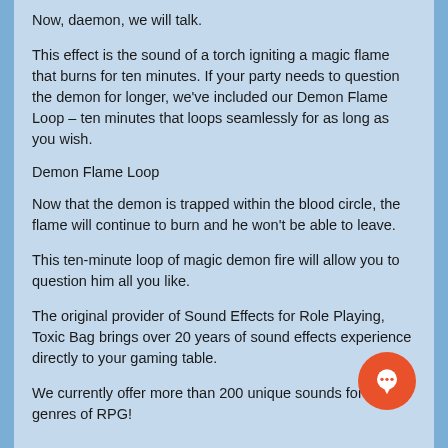Now, daemon, we will talk.
This effect is the sound of a torch igniting a magic flame that burns for ten minutes. If your party needs to question the demon for longer, we've included our Demon Flame Loop – ten minutes that loops seamlessly for as long as you wish.
Demon Flame Loop
Now that the demon is trapped within the blood circle, the flame will continue to burn and he won't be able to leave.
This ten-minute loop of magic demon fire will allow you to question him all you like.
The original provider of Sound Effects for Role Playing, Toxic Bag brings over 20 years of sound effects experience directly to your gaming table.
We currently offer more than 200 unique sounds for all genres of RPG!